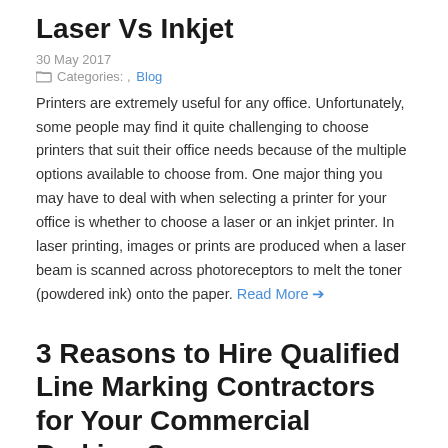Laser Vs Inkjet
30 May 2017
Categories: , Blog
Printers are extremely useful for any office. Unfortunately, some people may find it quite challenging to choose printers that suit their office needs because of the multiple options available to choose from. One major thing you may have to deal with when selecting a printer for your office is whether to choose a laser or an inkjet printer. In laser printing, images or prints are produced when a laser beam is scanned across photoreceptors to melt the toner (powdered ink) onto the paper. Read More →
3 Reasons to Hire Qualified Line Marking Contractors for Your Commercial Parking Space
13 July 2016
Categories: Business, Blog
If you have a commercial property, and you want to improve its parking space, you will need to hire specialists, rather than do it